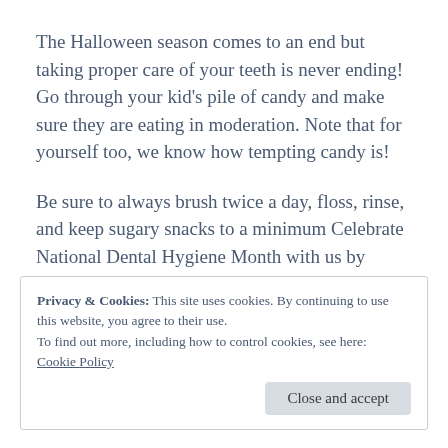The Halloween season comes to an end but taking proper care of your teeth is never ending! Go through your kid’s pile of candy and make sure they are eating in moderation. Note that for yourself too, we know how tempting candy is!
Be sure to always brush twice a day, floss, rinse, and keep sugary snacks to a minimum Celebrate National Dental Hygiene Month with us by scheduling your dental checkups today!
Privacy & Cookies: This site uses cookies. By continuing to use this website, you agree to their use.
To find out more, including how to control cookies, see here:
Cookie Policy
Close and accept